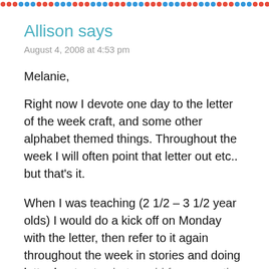[Figure (other): Decorative dotted border strip with multicolored dots along the top of the page]
Allison says
August 4, 2008 at 4:53 pm
Melanie,
Right now I devote one day to the letter of the week craft, and some other alphabet themed things. Throughout the week I will often point that letter out etc.. but that’s it.
When I was teaching (2 1/2 – 3 1/2 year olds) I would do a kick off on Monday with the letter, then refer to it again throughout the week in stories and doing letter hunts etc.. but would focus on other themes the other 2 days I had each group. On Friday we would do another from letter page as our closing circle time like